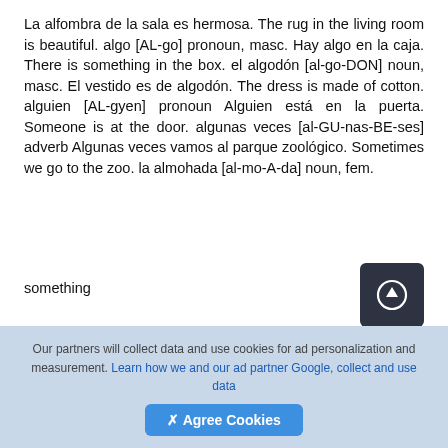La alfombra de la sala es hermosa. The rug in the living room is beautiful. algo [AL-go] pronoun, masc. Hay algo en la caja. There is something in the box. el algodón [al-go-DON] noun, masc. El vestido es de algodón. The dress is made of cotton. alguien [AL-gyen] pronoun Alguien está en la puerta. Someone is at the door. algunas veces [al-GU-nas-BE-ses] adverb Algunas veces vamos al parque zoológico. Sometimes we go to the zoo. la almohada [al-mo-A-da] noun, fem.
something
[Figure (other): Dark rounded square button with a circle-arrow (upload/scroll) icon]
cotton
Our partners will collect data and use cookies for ad personalization and measurement. Learn how we and our ad partner Google, collect and use data
✕ Agree Cookies